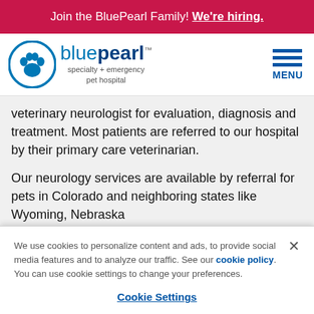Join the BluePearl Family! We're hiring.
[Figure (logo): BluePearl specialty + emergency pet hospital logo with paw print icon]
veterinary neurologist for evaluation, diagnosis and treatment. Most patients are referred to our hospital by their primary care veterinarian.
Our neurology services are available by referral for pets in Colorado and neighboring states like Wyoming, Nebraska and K…
We use cookies to personalize content and ads, to provide social media features and to analyze our traffic. See our cookie policy. You can use cookie settings to change your preferences.
Cookie Settings